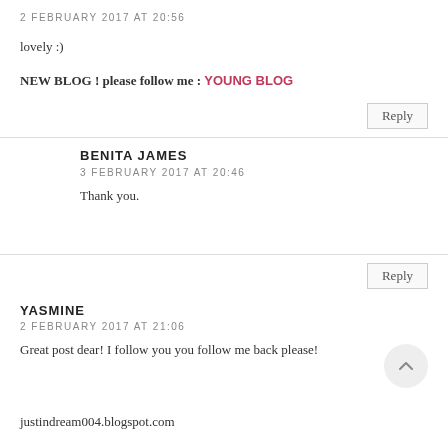2 FEBRUARY 2017 AT 20:56
lovely :)
NEW BLOG ! please follow me : YOUNG BLOG
Reply
BENITA JAMES
3 FEBRUARY 2017 AT 20:46
Thank you.
Reply
YASMINE
2 FEBRUARY 2017 AT 21:06
Great post dear! I follow you you follow me back please!
justindream004.blogspot.com